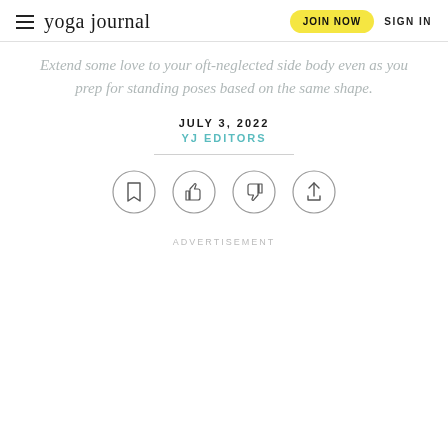yoga journal | JOIN NOW | SIGN IN
Extend some love to your oft-neglected side body even as you prep for standing poses based on the same shape.
JULY 3, 2022
YJ EDITORS
[Figure (infographic): Four circular icon buttons: bookmark, thumbs up, thumbs down, share]
ADVERTISEMENT